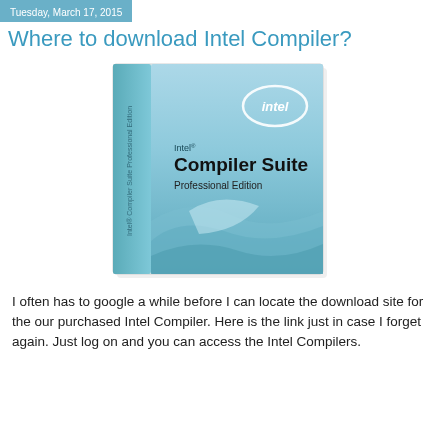Tuesday, March 17, 2015
Where to download Intel Compiler?
[Figure (photo): Box art for Intel Compiler Suite Professional Edition software product. A blue-toned 3D box with the Intel logo in the upper right corner, showing 'Intel Compiler Suite Professional Edition' text on the front face, with abstract wave/ribbon design on the lower portion.]
I often has to google a while before I can locate the download site for the our purchased Intel Compiler. Here is the link just in case I forget again. Just log on and you can access the Intel Compilers.